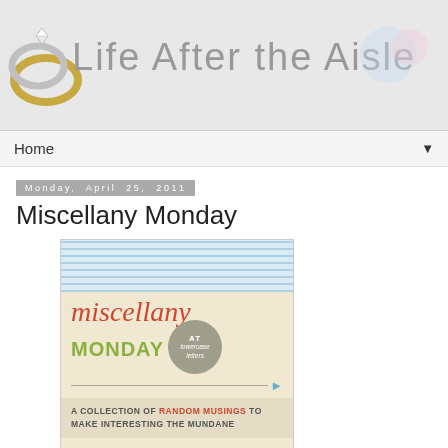[Figure (logo): Life After the Aisle blog header with interlocking gold and silver rings graphic on left, blog title text in grey, decorative circles on right, on grey background]
Home ▼
Monday, April 25, 2011
Miscellany Monday
[Figure (illustration): Miscellany Monday badge/logo: light blue stripes at top, script red 'miscellany' text, green bold 'MONDAY' text, grey circle with 'AT lowercase letters', arrow line, cream background, text 'A COLLECTION OF RANDOM MUSINGS TO MAKE INTERESTING THE MUNDANE']